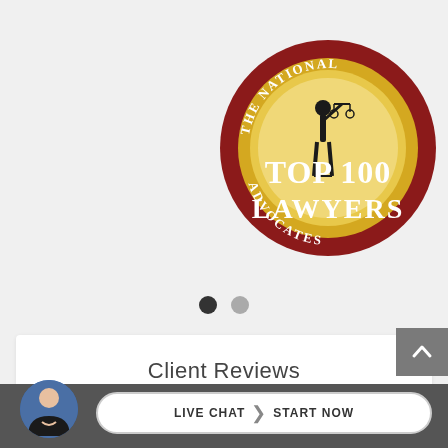[Figure (logo): The National Advocates Top 100 Lawyers badge — circular dark red border with gold center, figure of justice holding scales, text 'THE NATIONAL ADVOCATES' around top and 'ADVOCATES' at bottom, 'TOP 100 LAWYERS' in large text center]
[Figure (other): Carousel navigation dots: one filled black dot and one gray dot indicating two slides]
Client Reviews
[Figure (photo): Small circular avatar photo of a woman with dark hair wearing a black blazer, arms crossed]
LIVE CHAT  START NOW